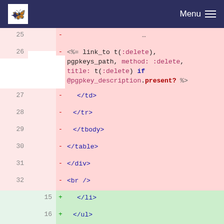Menu
[Figure (screenshot): Code diff view showing removed (red) and added (green) lines of Ruby/HTML template code, with line numbers on left and right columns indicating old and new file positions.]